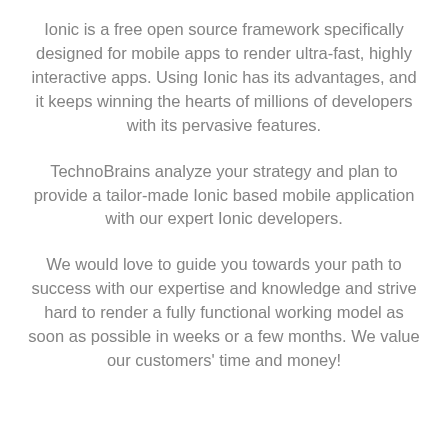Ionic is a free open source framework specifically designed for mobile apps to render ultra-fast, highly interactive apps. Using Ionic has its advantages, and it keeps winning the hearts of millions of developers with its pervasive features.
TechnoBrains analyze your strategy and plan to provide a tailor-made Ionic based mobile application with our expert Ionic developers.
We would love to guide you towards your path to success with our expertise and knowledge and strive hard to render a fully functional working model as soon as possible in weeks or a few months. We value our customers' time and money!